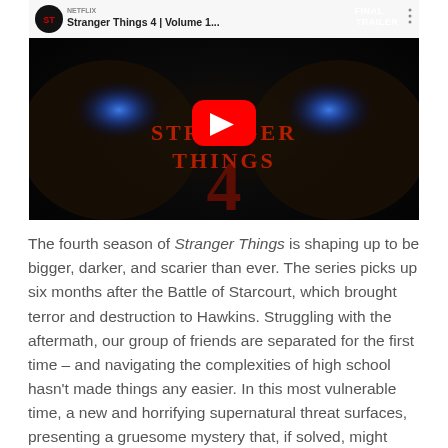[Figure (screenshot): YouTube video thumbnail for 'Stranger Things 4 | Volume 1 Final Trailer' showing a dark creature background with glowing blue eyes and the Stranger Things logo. A red YouTube play button is visible in the center. Top bar shows channel name and video title.]
The fourth season of Stranger Things is shaping up to be bigger, darker, and scarier than ever. The series picks up six months after the Battle of Starcourt, which brought terror and destruction to Hawkins. Struggling with the aftermath, our group of friends are separated for the first time – and navigating the complexities of high school hasn't made things any easier. In this most vulnerable time, a new and horrifying supernatural threat surfaces, presenting a gruesome mystery that, if solved, might finally put an end to the horrors of the Upside Down.